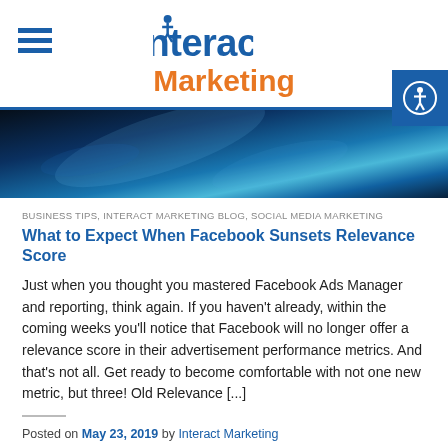Interact Marketing
[Figure (photo): Blue abstract banner image with light reflections]
BUSINESS TIPS, INTERACT MARKETING BLOG, SOCIAL MEDIA MARKETING
What to Expect When Facebook Sunsets Relevance Score
Just when you thought you mastered Facebook Ads Manager and reporting, think again. If you haven't already, within the coming weeks you'll notice that Facebook will no longer offer a relevance score in their advertisement performance metrics. And that's not all. Get ready to become comfortable with not one new metric, but three! Old Relevance [...]
Posted on May 23, 2019 by Interact Marketing